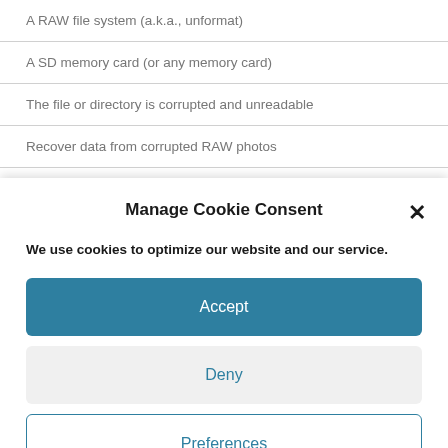A RAW file system (a.k.a., unformat)
A SD memory card (or any memory card)
The file or directory is corrupted and unreadable
Recover data from corrupted RAW photos
JpegDigger Photo Recovery Software
Manage Cookie Consent
We use cookies to optimize our website and our service.
Accept
Deny
Preferences